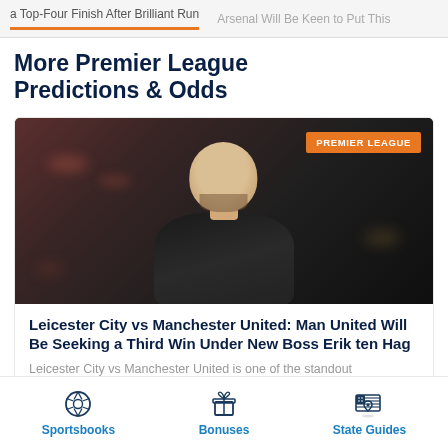a Top-Four Finish After Brilliant Run   Arsenal Will Be Keen to Put This
More Premier League Predictions & Odds
[Figure (photo): Photo of a bald man (football manager Erik ten Hag) in a dark jacket, with a blurred stadium crowd behind him. Orange badge reads PREMIER LEAGUE in top right corner.]
Leicester City vs Manchester United: Man United Will Be Seeking a Third Win Under New Boss Erik ten Hag
Leicester City vs Manchester United is one of the standout
Sportsbooks   Bonuses   State Guides